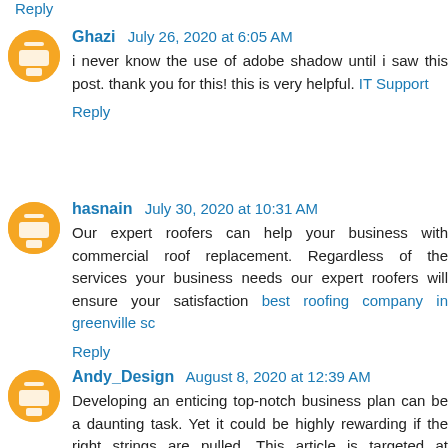Reply
Ghazi July 26, 2020 at 6:05 AM
i never know the use of adobe shadow until i saw this post. thank you for this! this is very helpful. IT Support
Reply
hasnain July 30, 2020 at 10:31 AM
Our expert roofers can help your business with commercial roof replacement. Regardless of the services your business needs our expert roofers will ensure your satisfaction best roofing company in greenville sc
Reply
Andy_Design August 8, 2020 at 12:39 AM
Developing an enticing top-notch business plan can be a daunting task. Yet it could be highly rewarding if the right strings are pulled. This article is targeted at business lovers